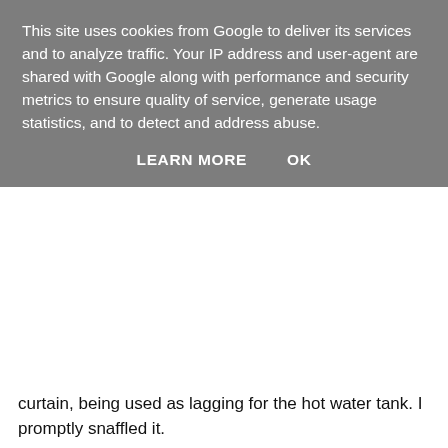This site uses cookies from Google to deliver its services and to analyze traffic. Your IP address and user-agent are shared with Google along with performance and security metrics to ensure quality of service, generate usage statistics, and to detect and address abuse.
LEARN MORE    OK
curtain, being used as lagging for the hot water tank. I promptly snaffled it.
[Figure (photo): Two-panel photo: left panel shows a top-down view of feet wearing dark patterned shoes with a pink embroidered skirt and white lace hem visible; right panel shows a woman in a pink/coral midi dress with white lace hem standing against a white wall.]